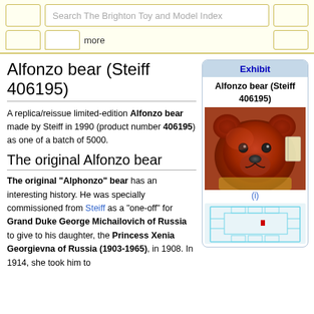Search The Brighton Toy and Model Index
Alfonzo bear (Steiff 406195)
A replica/reissue limited-edition Alfonzo bear made by Steiff in 1990 (product number 406195) as one of a batch of 5000.
The original Alfonzo bear
The original "Alphonzo" bear has an interesting history. He was specially commissioned from Steiff as a "one-off" for Grand Duke George Michailovich of Russia to give to his daughter, the Princess Xenia Georgievna of Russia (1903-1965), in 1908. In 1914, she took him to
[Figure (other): Exhibit box showing Alfonzo bear (Steiff 406195) with photo of red teddy bear and a floor map]
Alfonzo bear (Steiff 406195)